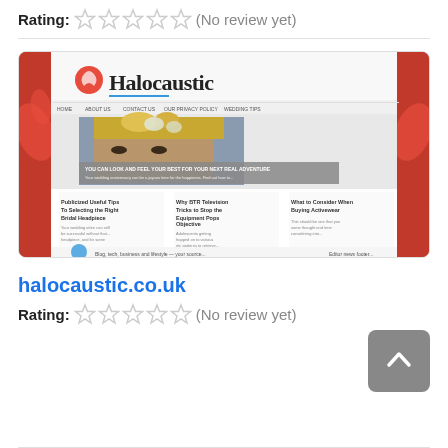Rating: (No review yet)
[Figure (screenshot): Screenshot of halocaustic.co.uk website showing the Halocaustic logo with red decorative background, a featured image of a woman with floral headpiece, and article previews below]
halocaustic.co.uk
Rating: (No review yet)